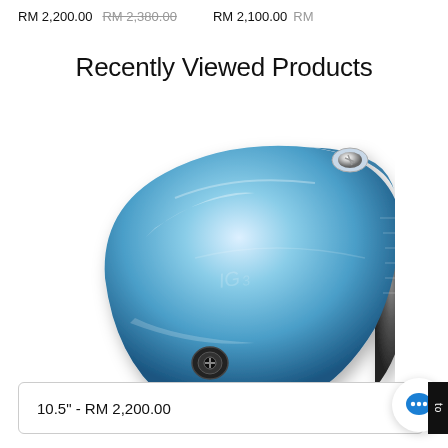RM 2,200.00 RM 2,380.00 RM 2,100.00 RM...
Recently Viewed Products
[Figure (photo): Blue metallic golf club driver head with adjustable hosel screw, viewed from above at an angle, showing shiny blue titanium finish and textured face]
10.5" - RM 2,200.00